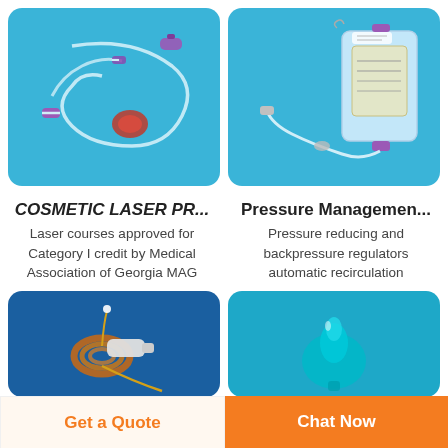[Figure (photo): Medical IV tubing set with purple connectors and components on a light blue background]
[Figure (photo): IV bag with tubing and pressure management connectors on a light blue background]
COSMETIC LASER PR...
Laser courses approved for Category I credit by Medical Association of Georgia MAG
Pressure Managemen...
Pressure reducing and backpressure regulators automatic recirculation
[Figure (photo): Medical laser fiber optic device with copper coil on dark blue background]
[Figure (photo): Medical device component on teal/sky blue background]
Get a Quote
Chat Now